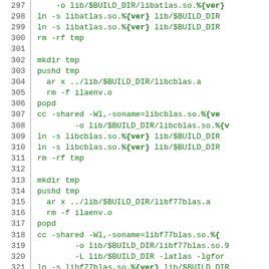Code listing lines 297-321 showing shell script commands for building shared libraries (libatlas, libcblas, libf77blas) with ln, rm, mkdir, pushd, ar, popd, cc commands using %{ver} version variables and $BUILD_DIR path variables.